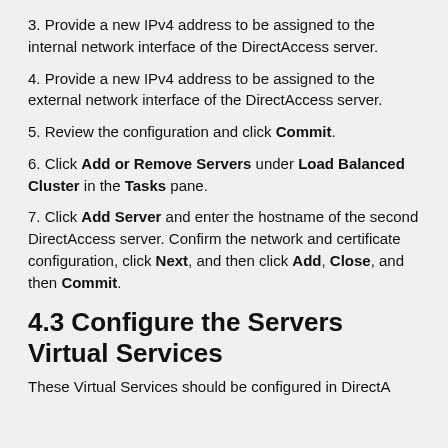3. Provide a new IPv4 address to be assigned to the internal network interface of the DirectAccess server.
4. Provide a new IPv4 address to be assigned to the external network interface of the DirectAccess server.
5. Review the configuration and click Commit.
6. Click Add or Remove Servers under Load Balanced Cluster in the Tasks pane.
7. Click Add Server and enter the hostname of the second DirectAccess server. Confirm the network and certificate configuration, click Next, and then click Add, Close, and then Commit.
4.3 Configure the Servers Virtual Services
These Virtual Services should be configured in DirectA...